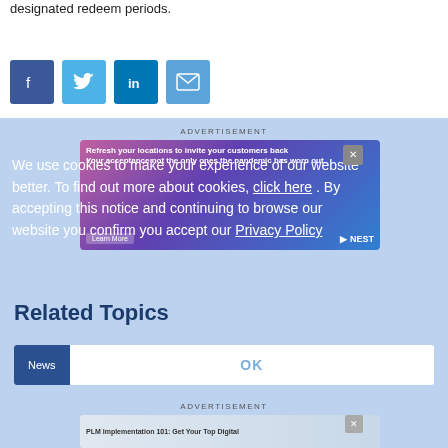designated redeem periods.
[Figure (infographic): Social sharing icons row: Facebook (dark blue), Twitter (light blue), LinkedIn (teal blue), Email (blue envelope)]
[Figure (screenshot): Advertisement banner: Refresh your locations to invite your customers back. Your acceptance not the only ones the pandemic has worn out. Learn More. NEST logo.]
We use cookies to make your experience of our website better. To find out more about cookies, click here . By accepting this notice and continuing to browse our website you confirm you accept our Privacy Policy
Related Topics
News
OK
ADVERTISEMENT
[Figure (screenshot): Bottom advertisement banner: PLM Implementation 101: Get Your Top Digital]